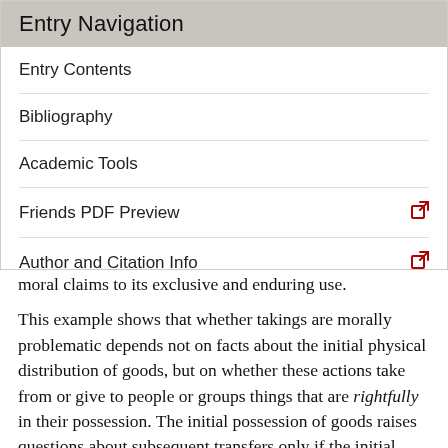Entry Navigation
Entry Contents
Bibliography
Academic Tools
Friends PDF Preview
Author and Citation Info
moral claims to its exclusive and enduring use.
This example shows that whether takings are morally problematic depends not on facts about the initial physical distribution of goods, but on whether these actions take from or give to people or groups things that are rightfully in their possession. The initial possession of goods raises questions about subsequent transfers only if the initial possession is rightful rather than merely physical. Indeed, where possessions have been acquired through unjust processes, purposive takings may be required to restore rightful possession. Hillel Steiner (1994), for example,